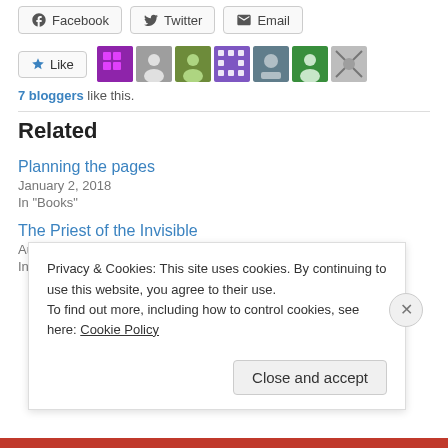[Figure (screenshot): Social share buttons: Facebook, Twitter, Email]
[Figure (screenshot): Like button and 7 blogger avatars]
7 bloggers like this.
Related
Planning the pages
January 2, 2018
In "Books"
The Priest of the Invisible
August 11, 2016
In "Books"
Privacy & Cookies: This site uses cookies. By continuing to use this website, you agree to their use.
To find out more, including how to control cookies, see here: Cookie Policy